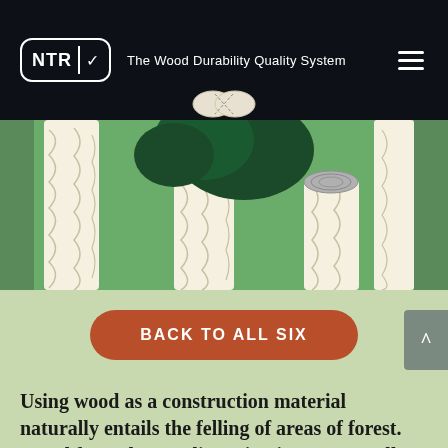NTR ✓ | The Wood Durability Quality System
[Figure (logo): NTR logo with checkmark symbol and infinity/wood icon below]
[Figure (illustration): Stylized illustration of Nordic forest with tree trunks and green background, showing a felled tree stump]
BACK TO ALL SIX
Using wood as a construction material naturally entails the felling of areas of forest. Wood from the Nordic region is not naturally resistant to rot, so in